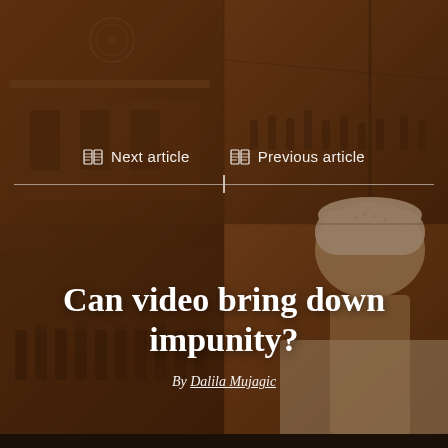[Figure (photo): Sepia-toned composite background image showing a courtroom scene on the left (people in robes at a tribunal with ICC logo), and crowd/street scenes with an African man in a white cap on the right.]
Next article   Previous article
Can video bring down impunity?
By Dalila Mujagic